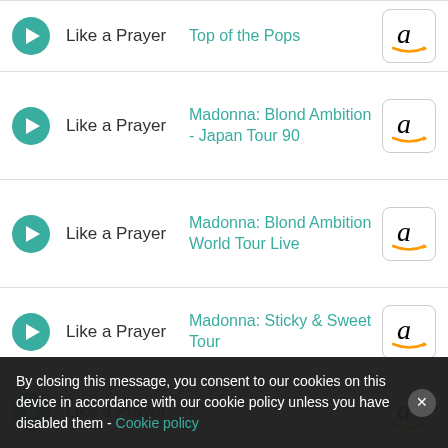Like a Prayer — Top of the Pops
Like a Prayer — Madonna: Blond Ambition - Japan Tour 90
Like a Prayer — Madonna: Blond Ambition World Tour Live
Like a Prayer — Madonna: Sticky & Sweet Tour
Like a Prayer — Live 8
Like a Prayer — Madonna: Live! Barcelona Olympic Stadium
By closing this message, you consent to our cookies on this device in accordance with our cookie policy unless you have disabled them - Cookie policy